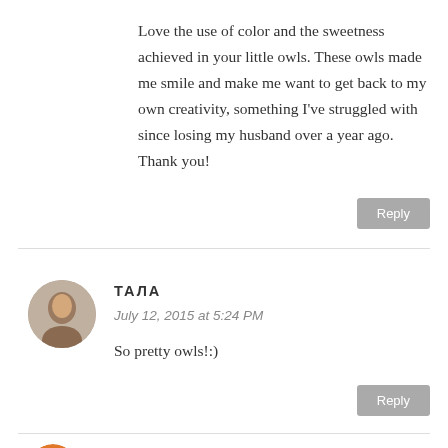Love the use of color and the sweetness achieved in your little owls. These owls made me smile and make me want to get back to my own creativity, something I've struggled with since losing my husband over a year ago. Thank you!
Reply
ТАЛА
July 12, 2015 at 5:24 PM
So pretty owls!:)
Reply